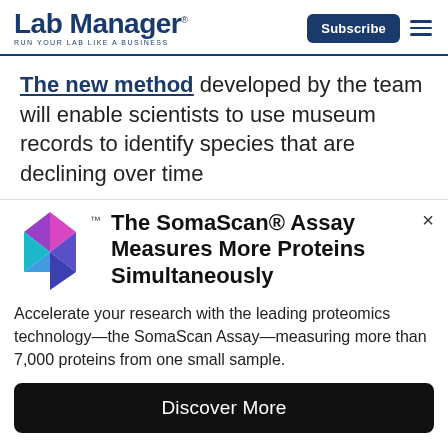Lab Manager — Run Your Lab Like a Business
The new method developed by the team will enable scientists to use museum records to identify species that are declining over time
[Figure (logo): SomaScan S-shaped geometric logo in pink, purple, and teal colors with TM mark]
The SomaScan® Assay Measures More Proteins Simultaneously
Accelerate your research with the leading proteomics technology—the SomaScan Assay—measuring more than 7,000 proteins from one small sample.
Discover More